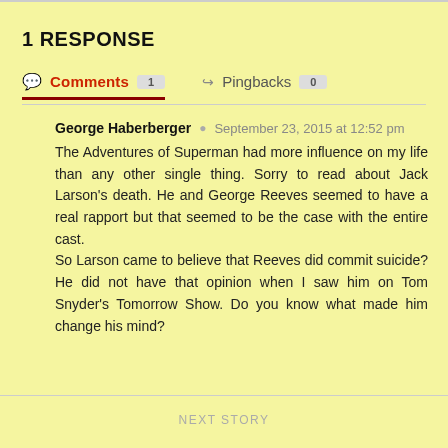1 RESPONSE
Comments 1   Pingbacks 0
George Haberberger · September 23, 2015 at 12:52 pm
The Adventures of Superman had more influence on my life than any other single thing. Sorry to read about Jack Larson's death. He and George Reeves seemed to have a real rapport but that seemed to be the case with the entire cast.
So Larson came to believe that Reeves did commit suicide? He did not have that opinion when I saw him on Tom Snyder's Tomorrow Show. Do you know what made him change his mind?
NEXT STORY